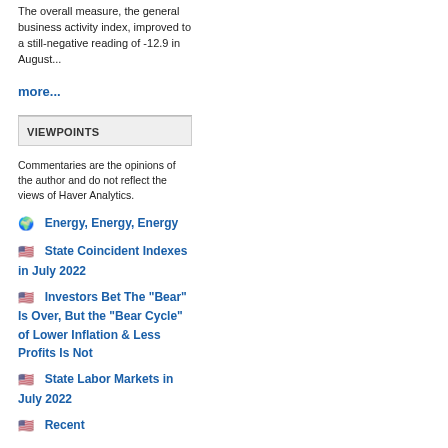The overall measure, the general business activity index, improved to a still-negative reading of -12.9 in August...
more...
VIEWPOINTS
Commentaries are the opinions of the author and do not reflect the views of Haver Analytics.
Energy, Energy, Energy
State Coincident Indexes in July 2022
Investors Bet The "Bear" Is Over, But the "Bear Cycle" of Lower Inflation & Less Profits Is Not
State Labor Markets in July 2022
Recent